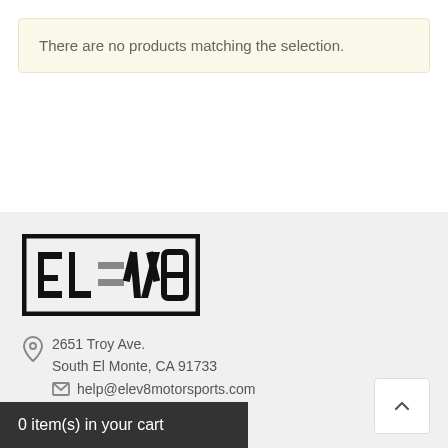There are no products matching the selection.
[Figure (logo): ELEV8 motorsports logo — bold black letters EL=V8 inside a black rectangular border with gray horizontal bar details]
2651 Troy Ave.
South El Monte, CA 91733
help@elev8motorsports.com
0 item(s) in your cart